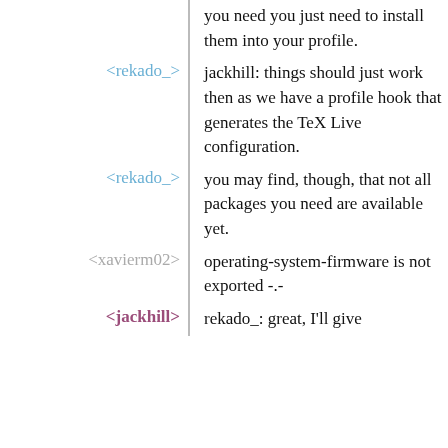you need you just need to install them into your profile.
<rekado_> jackhill: things should just work then as we have a profile hook that generates the TeX Live configuration.
<rekado_> you may find, though, that not all packages you need are available yet.
<xavierm02> operating-system-firmware is not exported -.-
<jackhill> rekado_: great, I'll give